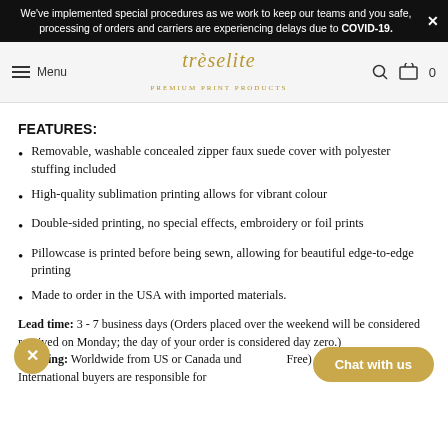We've implemented special procedures as we work to keep our teams and you safe, processing of orders and carriers are experiencing delays due to COVID-19.
Menu | trèselite | Search | Cart 0
FEATURES:
Removable, washable concealed zipper faux suede cover with polyester stuffing included
High-quality sublimation printing allows for vibrant colour
Double-sided printing, no special effects, embroidery or foil prints
Pillowcase is printed before being sewn, allowing for beautiful edge-to-edge printing
Made to order in the USA with imported materials.
Lead time: 3 - 7 business days (Orders placed over the weekend will be considered received on Monday; the day of your order is considered day zero.) Shipping: Worldwide from US or Canada under (Free) with tracking numbers. International buyers are responsible for